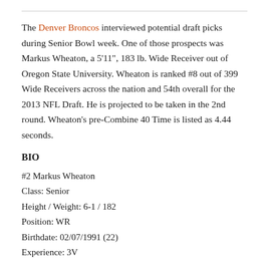The Denver Broncos interviewed potential draft picks during Senior Bowl week. One of those prospects was Markus Wheaton, a 5'11", 183 lb. Wide Receiver out of Oregon State University. Wheaton is ranked #8 out of 399 Wide Receivers across the nation and 54th overall for the 2013 NFL Draft. He is projected to be taken in the 2nd round. Wheaton's pre-Combine 40 Time is listed as 4.44 seconds.
BIO
#2 Markus Wheaton
Class: Senior
Height / Weight: 6-1 / 182
Position: WR
Birthdate: 02/07/1991 (22)
Experience: 3V